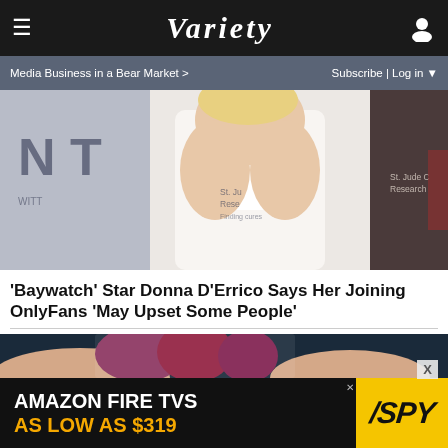VARIETY
Media Business in a Bear Market >  Subscribe | Log in
[Figure (photo): Photo of woman in white outfit at event with St. Jude Research signage in background]
'Baywatch' Star Donna D'Errico Says Her Joining OnlyFans 'May Upset Some People'
[Figure (photo): Close-up photo of sugary/sour gummy candies being held in hand]
AMAZON FIRE TVS AS LOW AS $319  SPY